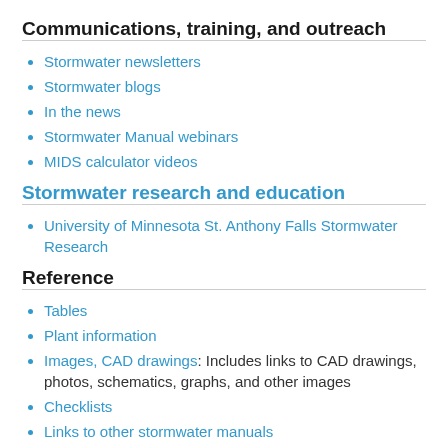Communications, training, and outreach
Stormwater newsletters
Stormwater blogs
In the news
Stormwater Manual webinars
MIDS calculator videos
Stormwater research and education
University of Minnesota St. Anthony Falls Stormwater Research
Reference
Tables
Plant information
Images, CAD drawings: Includes links to CAD drawings, photos, schematics, graphs, and other images
Checklists
Links to other stormwater manuals